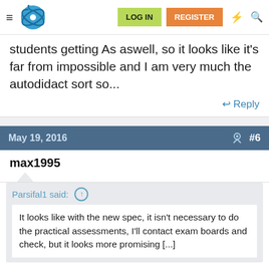LOG IN | REGISTER
students getting As aswell, so it looks like it's far from impossible and I am very much the autodidact sort so...
↩ Reply
May 19, 2016  #6
max1995
Parsifal1 said: ↑
It looks like with the new spec, it isn't necessary to do the practical assessments, I'll contact exam boards and check, but it looks more promising [...]